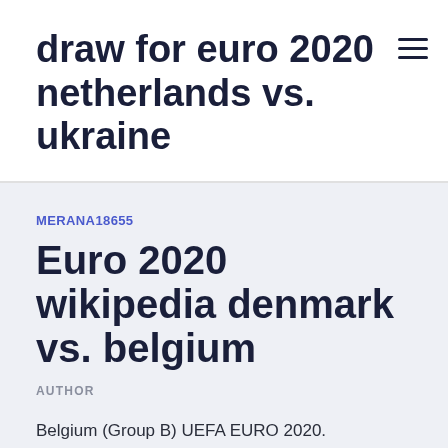draw for euro 2020 netherlands vs. ukraine
MERANA18655
Euro 2020 wikipedia denmark vs. belgium
AUTHOR
Belgium (Group B) UEFA EURO 2020.
Switzerland didn't play well in qualification for Euro 2020, but ended up topping their group thanks to